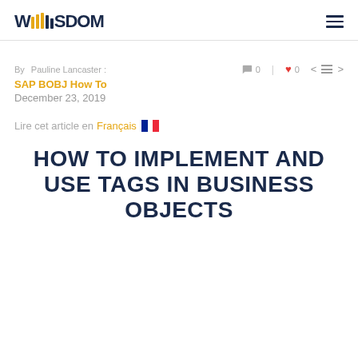WISDOM
By Pauline Lancaster   0  |  0
SAP BOBJ How To
December 23, 2019
Lire cet article en Français 🇫🇷
HOW TO IMPLEMENT AND USE TAGS IN BUSINESS OBJECTS